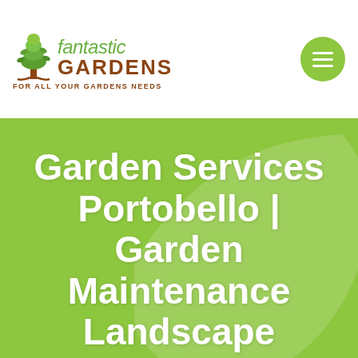[Figure (logo): Fantastic Gardens logo with tree icon, italic green 'fantastic' text, bold brown 'GARDENS' text, and tagline 'FOR ALL YOUR GARDENS NEEDS']
Garden Services Portobello | Garden Maintenance Landscape Design
Home ▶ Gardeners Portobello